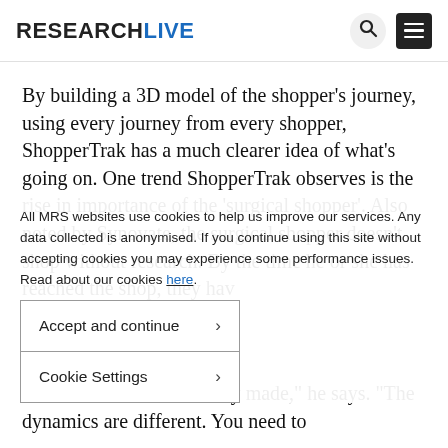RESEARCHLIVE
By building a 3D model of the shopper’s journey, using every journey from every shopper, ShopperTrak has a much clearer idea of what’s going on. One trend ShopperTrak observes is the rise in importance of the ‘surgical shopper’. Also noted by Synovate, the surgical shopper doesn’t shop without research. By the time he or she has reached the shop, they hav…
All MRS websites use cookies to help us improve our services. Any data collected is anonymised. If you continue using this site without accepting cookies you may experience some performance issues. Read about our cookies here.
Accept and continue
Cookie Settings
“Thei… decision is already made,” he says. “The dynamics are different. You need to…